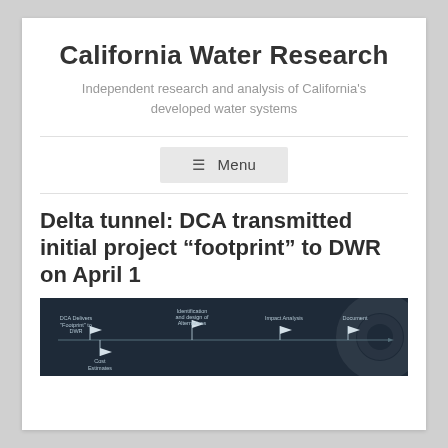California Water Research
Independent research and analysis of California's developed water systems
≡ Menu
Delta tunnel: DCA transmitted initial project “footprint” to DWR on April 1
[Figure (flowchart): Dark blue/navy background flowchart showing project phases: DCA Delivers 'Footprint' to DWR, Cost Estimates, Identification and design of Alternatives, Impact Analysis, Document with watermark circle on right edge.]